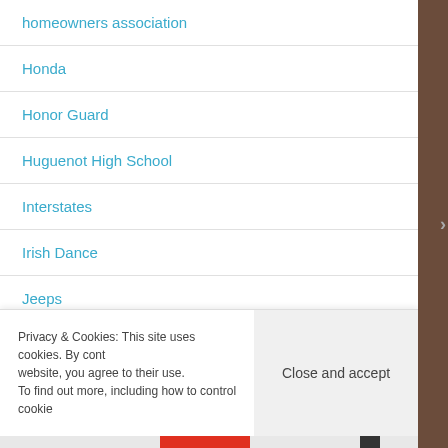homeowners association
Honda
Honor Guard
Huguenot High School
Interstates
Irish Dance
Jeeps
Privacy & Cookies: This site uses cookies. By cont website, you agree to their use.
To find out more, including how to control cookie
Close and accept